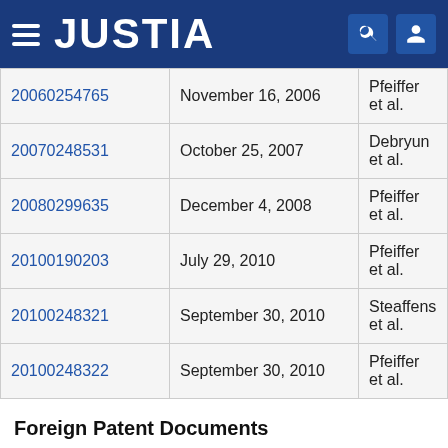JUSTIA
| Patent No. | Date | Inventor |
| --- | --- | --- |
| 20060254765 | November 16, 2006 | Pfeiffer et al. |
| 20070248531 | October 25, 2007 | Debryun et al. |
| 20080299635 | December 4, 2008 | Pfeiffer et al. |
| 20100190203 | July 29, 2010 | Pfeiffer et al. |
| 20100248321 | September 30, 2010 | Steaffens et al. |
| 20100248322 | September 30, 2010 | Pfeiffer et al. |
Foreign Patent Documents
| Patent No. | Date | Country |
| --- | --- | --- |
| 4036787 | May 1992 | DE |
| 4115435 | August 1992 | DE |
| 19520548 | December 1996 | DE |